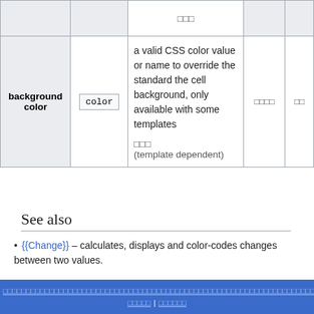| Parameter | Value | Description | Col4 | Col5 |
| --- | --- | --- | --- | --- |
|  |  | □□□ |  |  |
| background color | color | a valid CSS color value or name to override the standard the cell background, only available with some templates
□□□
(template dependent) | □□□□ | □□ |
See also
{{Change}} – calculates, displays and color-codes changes between two values